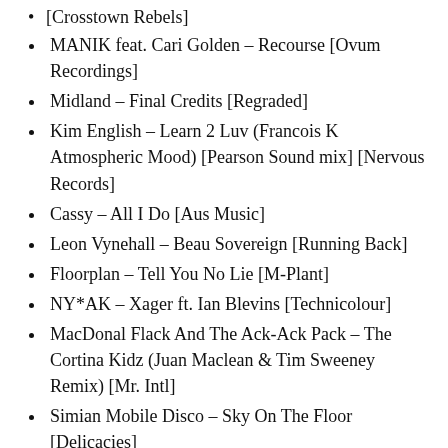[Crosstown Rebels]
MANIK feat. Cari Golden – Recourse [Ovum Recordings]
Midland – Final Credits [Regraded]
Kim English – Learn 2 Luv (Francois K Atmospheric Mood) [Pearson Sound mix] [Nervous Records]
Cassy – All I Do [Aus Music]
Leon Vynehall – Beau Sovereign [Running Back]
Floorplan – Tell You No Lie [M-Plant]
NY*AK – Xager ft. Ian Blevins [Technicolour]
MacDonal Flack And The Ack-Ack Pack – The Cortina Kidz (Juan Maclean & Tim Sweeney Remix) [Mr. Intl]
Simian Mobile Disco – Sky On The Floor [Delicacies]